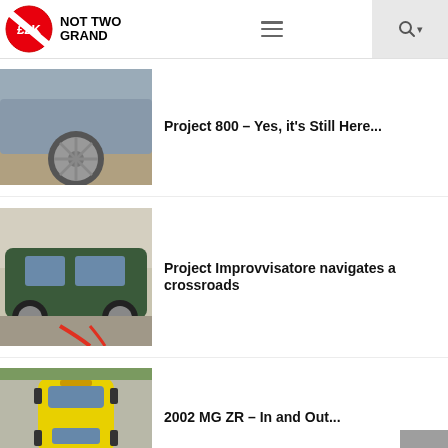NOT TWO GRAND
Project 800 – Yes, it's Still Here...
[Figure (photo): Close-up of silver/blue car wheel and lower body panel on a paved surface]
Project Improvvisatore navigates a crossroads
[Figure (photo): Dark green car parked outside a building with jumper cables or hoses attached]
2002 MG ZR – In and Out...
[Figure (photo): Yellow MG ZR car photographed from above in a parking lot]